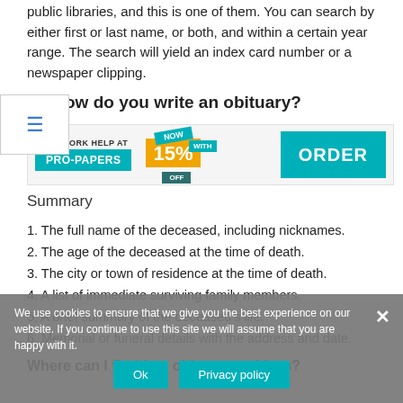public libraries, and this is one of them. You can search by either first or last name, or both, and within a certain year range. The search will yield an index card number or a newspaper clipping.
How do you write an obituary?
[Figure (infographic): Pro-Papers homework help advertisement banner with teal PRO-PAPERS logo, NOW 15% OFF discount badge, and teal ORDER button]
Summary
1. The full name of the deceased, including nicknames.
2. The age of the deceased at the time of death.
3. The city or town of residence at the time of death.
4. A list of immediate surviving family members.
5. A brief summary of the deceased's life.
6. Memorial or funeral details with the address and date.
Where can I find free obituary archives?
We use cookies to ensure that we give you the best experience on our website. If you continue to use this site we will assume that you are happy with it.